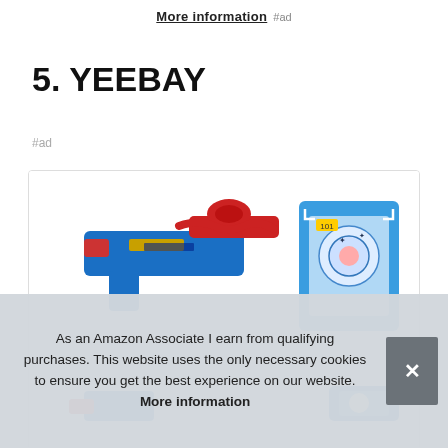More information #ad
5. YEEBAY
#ad
[Figure (photo): Product photo showing blue and red toy foam dart blasters/guns with a blue target board in the background, inside a bordered product card.]
As an Amazon Associate I earn from qualifying purchases. This website uses the only necessary cookies to ensure you get the best experience on our website. More information